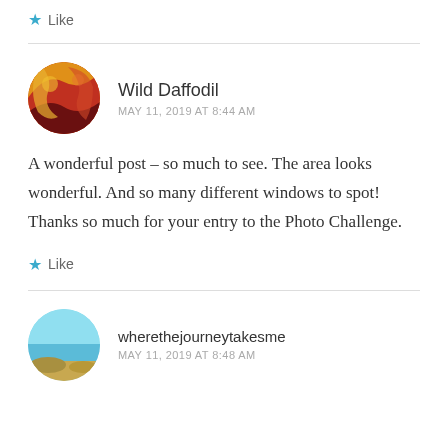Like
Wild Daffodil
MAY 11, 2019 AT 8:44 AM
A wonderful post – so much to see. The area looks wonderful. And so many different windows to spot! Thanks so much for your entry to the Photo Challenge.
Like
wherethejourneytakesme
MAY 11, 2019 AT 8:48 AM